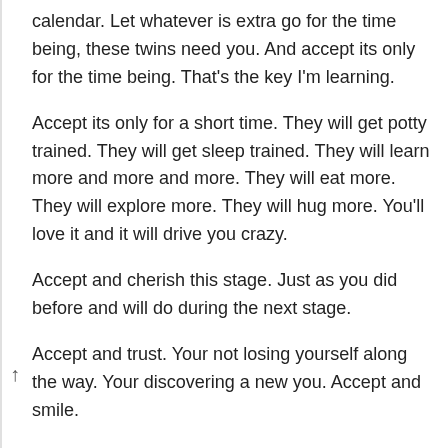calendar. Let whatever is extra go for the time being, these twins need you. And accept its only for the time being. That's the key I'm learning.
Accept its only for a short time. They will get potty trained. They will get sleep trained. They will learn more and more and more. They will eat more. They will explore more. They will hug more. You'll love it and it will drive you crazy.
Accept and cherish this stage. Just as you did before and will do during the next stage.
Accept and trust. Your not losing yourself along the way. Your discovering a new you. Accept and smile.
Accept and find at least one thing you are grateful that happen today. Hmm.. got my favorite moment. Sweet.. feeling much better.